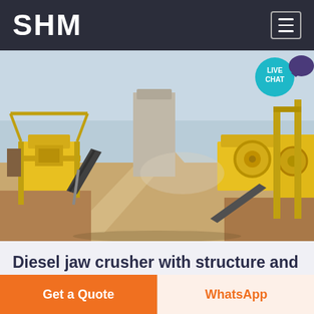SHM
[Figure (photo): Industrial mining/crushing plant with yellow machinery, conveyor belts, aggregate piles, and dust in an outdoor setting]
Diesel jaw crusher with structure and working principle picture
09.05.2015 · From the area of Diesel jaw crusher...
Get a Quote
WhatsApp